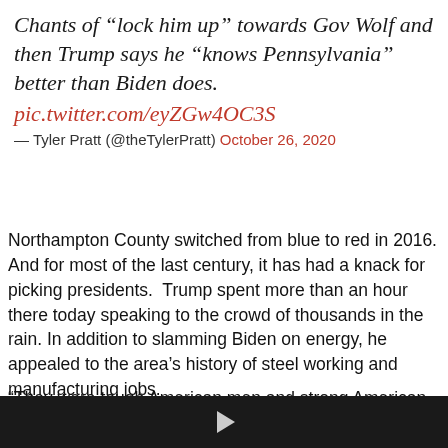Chants of “lock him up” towards Gov Wolf and then Trump says he “knows Pennsylvania” better than Biden does. pic.twitter.com/eyZGw4OC3S
— Tyler Pratt (@theTylerPratt) October 26, 2020
Northampton County switched from blue to red in 2016. And for most of the last century, it has had a knack for picking presidents.  Trump spent more than an hour there today speaking to the crowd of thousands in the rain. In addition to slamming Biden on energy, he appealed to the area’s history of steel working and manufacturing jobs.
“They were tough American men and strong American...
[Figure (other): Black video player bar with a play button triangle icon in the center]